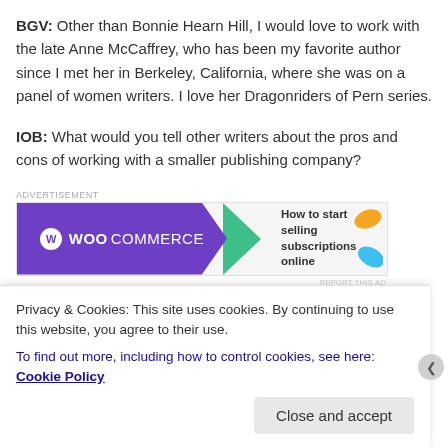BGV: Other than Bonnie Hearn Hill, I would love to work with the late Anne McCaffrey, who has been my favorite author since I met her in Berkeley, California, where she was on a panel of women writers. I love her Dragonriders of Pern series.
IOB: What would you tell other writers about the pros and cons of working with a smaller publishing company?
[Figure (other): WooCommerce advertisement banner: purple background with WooCommerce logo on left, green arrow graphic, and text 'How to start selling subscriptions online' on right with orange and blue decorative shapes.]
BGV: So far working with Black Opal Books is great. The
Privacy & Cookies: This site uses cookies. By continuing to use this website, you agree to their use.
To find out more, including how to control cookies, see here: Cookie Policy